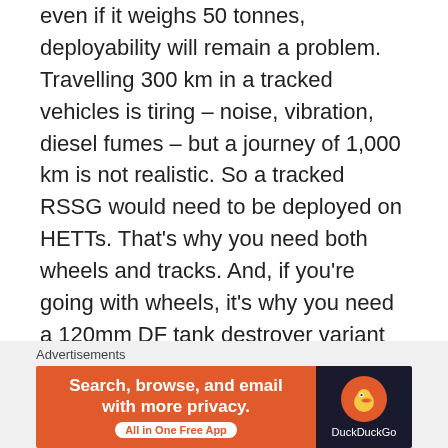even if it weighs 50 tonnes, deployability will remain a problem. Travelling 300 km in a tracked vehicles is tiring – noise, vibration, diesel fumes – but a journey of 1,000 km is not realistic. So a tracked RSSG would need to be deployed on HETTs. That's why you need both wheels and tracks. And, if you're going with wheels, it's why you need a 120mm DF tank destroyer variant to support your infantry battalions.
Like
[Figure (screenshot): DuckDuckGo advertisement banner with orange background on the left reading 'Search, browse, and email with more privacy. All in One Free App' and dark background on the right with DuckDuckGo duck logo]